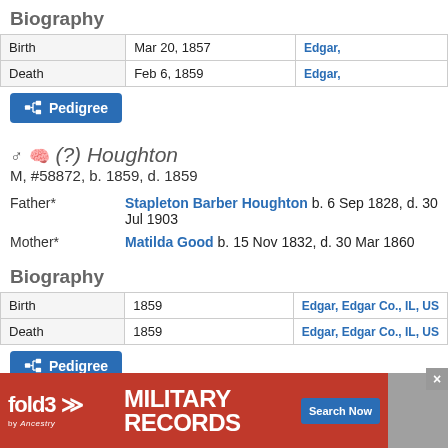Biography
|  |  |  |
| --- | --- | --- |
| Birth | Mar 20, 1857 | Edgar, |
| Death | Feb 6, 1859 | Edgar, |
Pedigree
♂ 🧠 (?) Houghton
M, #58872, b. 1859, d. 1859
Father* Stapleton Barber Houghton b. 6 Sep 1828, d. 30 Jul 1903
Mother* Matilda Good b. 15 Nov 1832, d. 30 Mar 1860
Biography
|  |  |  |
| --- | --- | --- |
| Birth | 1859 | Edgar, Edgar Co., IL, US |
| Death | 1859 | Edgar, Edgar Co., IL, US |
Pedigree
[Figure (infographic): fold3 by Ancestry Military Records advertisement banner with Search Now button]
F, #590...